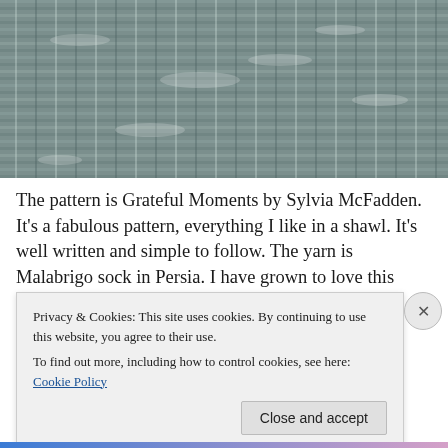[Figure (photo): Close-up photograph of knitted fabric with a textured cable or lace stitch pattern in blue-grey/silver tones, appearing to be Malabrigo sock yarn]
The pattern is Grateful Moments by Sylvia McFadden. It's a fabulous pattern, everything I like in a shawl. It's well written and simple to follow. The yarn is Malabrigo sock in Persia. I have grown to love this yarn. It's perfect for
Privacy & Cookies: This site uses cookies. By continuing to use this website, you agree to their use.
To find out more, including how to control cookies, see here: Cookie Policy
Close and accept